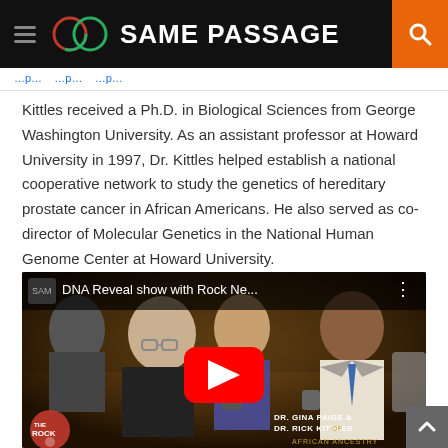SAME PASSAGE
Kittles received a Ph.D. in Biological Sciences from George Washington University. As an assistant professor at Howard University in 1997, Dr. Kittles helped establish a national cooperative network to study the genetics of hereditary prostate cancer in African Americans. He also served as co-director of Molecular Genetics in the National Human Genome Center at Howard University.
[Figure (screenshot): YouTube video embed showing 'DNA Reveal show with Rock Ne...' with a thumbnail of people seated at a table on a TV talk show set. A red YouTube play button is overlaid in the center. Caption reads 'DR. GINA PAIGE & DR. RICK KITTLES' and 'AFRICAN ANCESTRY'. The Rock logo appears at the bottom left.]